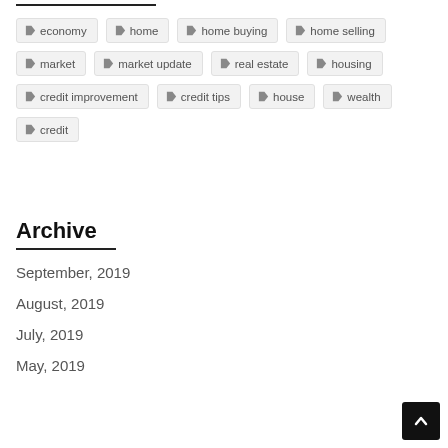economy
home
home buying
home selling
market
market update
real estate
housing
credit improvement
credit tips
house
wealth
credit
Archive
September, 2019
August, 2019
July, 2019
May, 2019